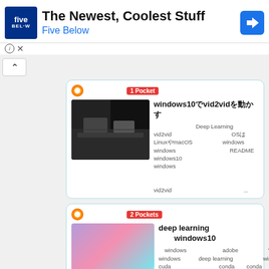[Figure (screenshot): Five Below advertisement banner with logo, headline 'The Newest, Coolest Stuff', brand name 'Five Below', and navigation icon]
[Figure (screenshot): First article card with Firefox/Pocket icon, username in Japanese, '1 Pocket' badge, thumbnail image of dark scene, title 'windows10でvid2vidを動かす', and Japanese description text]
[Figure (screenshot): Second article card with Firefox/Pocket icon, username in Japanese, '2 Pockets' badge, machine learning thumbnail image, title 'deep learningの環境構築でGPUをwindows10で使えるようにする...', and Japanese description text]
なお、TecoGANのGitHubリポジトリはこちら
[Figure (screenshot): GitHub card showing GitHub logo, 'GitHub' text, '10 Users' badge in orange, '101 Pockets' badge in red, and partial thumbnail at bottom]